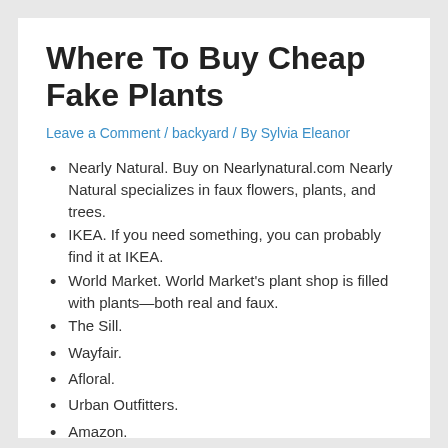Where To Buy Cheap Fake Plants
Leave a Comment / backyard / By Sylvia Eleanor
Nearly Natural. Buy on Nearlynatural.com Nearly Natural specializes in faux flowers, plants, and trees.
IKEA. If you need something, you can probably find it at IKEA.
World Market. World Market's plant shop is filled with plants—both real and faux.
The Sill.
Wayfair.
Afloral.
Urban Outfitters.
Amazon.
CB2.